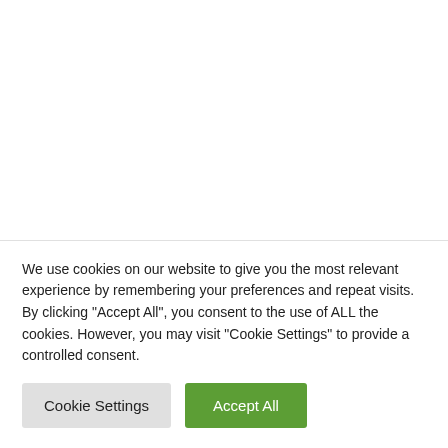Delivering the national population health
We use cookies on our website to give you the most relevant experience by remembering your preferences and repeat visits. By clicking “Accept All”, you consent to the use of ALL the cookies. However, you may visit "Cookie Settings" to provide a controlled consent.
Cookie Settings | Accept All